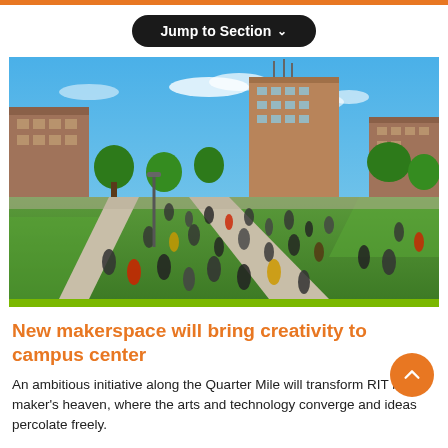Jump to Section
[Figure (photo): Aerial view of RIT campus quad with students walking along paths between green lawns and brick buildings under a blue sky]
New makerspace will bring creativity to campus center
An ambitious initiative along the Quarter Mile will transform RIT into a maker's heaven, where the arts and technology converge and ideas percolate freely.